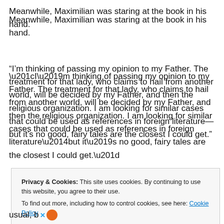Meanwhile, Maximilian was staring at the book in his hand.
“I’m thinking of passing my opinion to my Father. The treatment for that lady, who claims to hail from another world, will be decided by my Father, and then the religious organization. I am looking for similar cases that could be used as references in foreign literature—but it’s no good, fairy tales are the closest I could get.”
Privacy & Cookies: This site uses cookies. By continuing to use this website, you agree to their use. To find out more, including how to control cookies, see here: Cookie Policy
Close and accept
usual, b